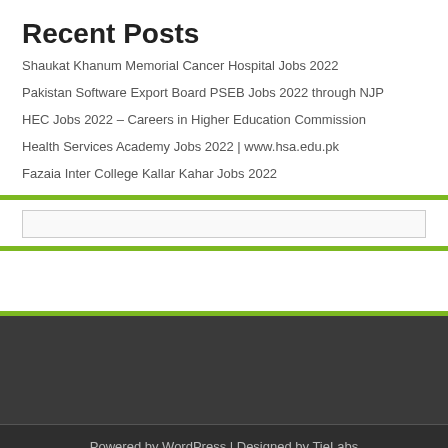Recent Posts
Shaukat Khanum Memorial Cancer Hospital Jobs 2022
Pakistan Software Export Board PSEB Jobs 2022 through NJP
HEC Jobs 2022 – Careers in Higher Education Commission
Health Services Academy Jobs 2022 | www.hsa.edu.pk
Fazaia Inter College Kallar Kahar Jobs 2022
Powered by WordPress | Designed by TieLabs
© Copyright 2022, All Rights Reserved